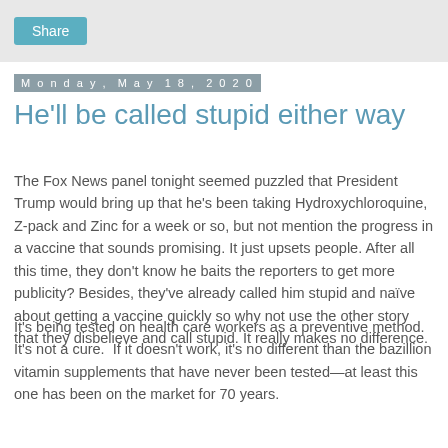Share
Monday, May 18, 2020
He'll be called stupid either way
The Fox News panel tonight seemed puzzled that President Trump would bring up that he's been taking Hydroxychloroquine, Z-pack and Zinc for a week or so, but not mention the progress in a vaccine that sounds promising. It just upsets people. After all this time, they don't know he baits the reporters to get more publicity? Besides, they've already called him stupid and naïve about getting a vaccine quickly so why not use the other story that they disbelieve and call stupid. It really makes no difference.
It's being tested on health care workers as a preventive method. It's not a cure.  If it doesn't work, it's no different than the bazillion vitamin supplements that have never been tested—at least this one has been on the market for 70 years.